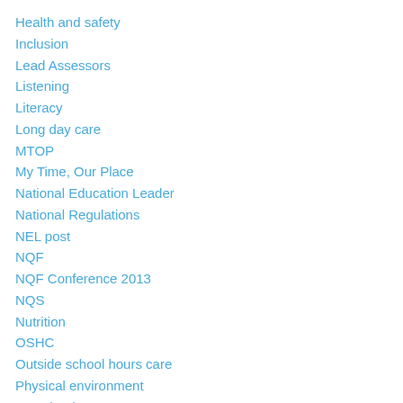Health and safety
Inclusion
Lead Assessors
Listening
Literacy
Long day care
MTOP
My Time, Our Place
National Education Leader
National Regulations
NEL post
NQF
NQF Conference 2013
NQS
Nutrition
OSHC
Outside school hours care
Physical environment
Preschool
Professional development